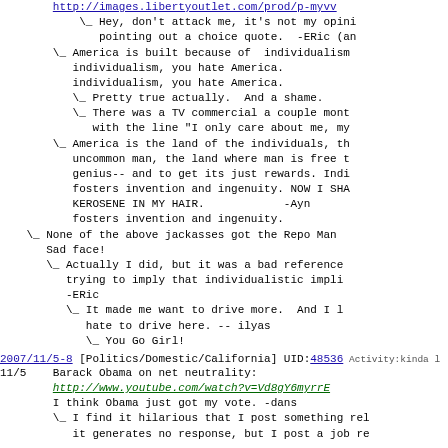http://images.libertyoutlet.com/prod/p-myv...
\_ Hey, don't attack me, it's not my opini... pointing out a choice quote.  -ERic (an...
\_ America is built because of  individualism... individualism, you hate America. individualism, you hate America.
\_ Pretty true actually.  And a shame.
\_ There was a TV commercial a couple mont... with the line "I only care about me, my...
\_ America is the land of the individuals, th... uncommon man, the land where man is free t... genius-- and to get its just rewards. Indi... fosters invention and ingenuity. NOW I SHA... KEROSENE IN MY HAIR.        -Ayn ... fosters invention and ingenuity.
\_ None of the above jackasses got the Repo Man ... Sad face!
\_ Actually I did, but it was a bad reference... trying to imply that individualistic impli... -ERic
\_ It made me want to drive more.  And I l... hate to drive here. -- ilyas
\_ You Go Girl!
2007/11/5-8 [Politics/Domestic/California] UID:48536 Activity:kinda l
11/5    Barack Obama on net neutrality:
http://www.youtube.com/watch?v=Vd8qY6myrrE
I think Obama just got my vote. -dans
\_ I find it hilarious that I post something rel... it generates no response, but I post a job re...